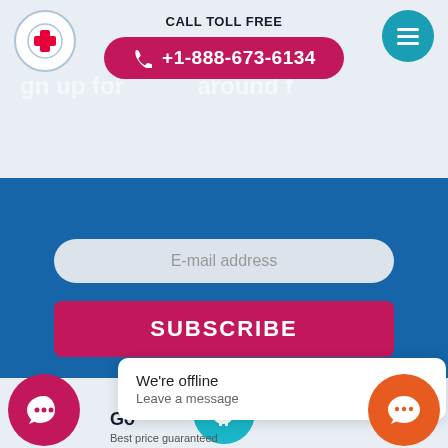[Figure (screenshot): Website header with logo, CALL TOLL FREE label, pink phone button showing +1-888-673-6134, and teal hamburger menu button]
CALL TOLL FREE
+1-888-673-6134
[Figure (screenshot): Blue subscription section with email address input field and SUBSCRIBE button]
E-mail address
SUBSCRIBE
[Figure (infographic): Teal circle with piggy bank icon above Awesome savings section]
Awesome savings
Save up to 70% compared to treatment at home
[Figure (screenshot): We're offline popup with Leave a message text, pink chat circle and orange chat circle]
We're offline
Leave a message